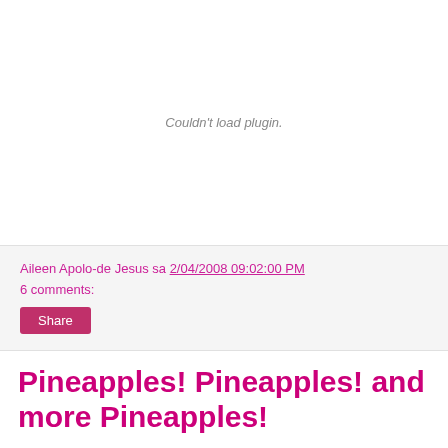[Figure (other): Plugin placeholder area showing 'Couldn't load plugin.' message in gray italic text]
Aileen Apolo-de Jesus sa 2/04/2008 09:02:00 PM
6 comments:
Share
Pineapples! Pineapples! and more Pineapples!